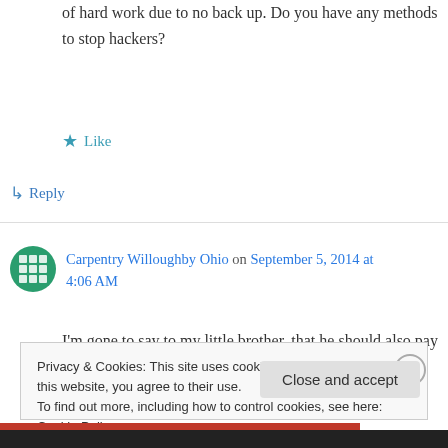of hard work due to no back up. Do you have any methods to stop hackers?
★ Like
↳ Reply
Carpentry Willoughby Ohio on September 5, 2014 at 4:06 AM
I'm gone to say to my little brother, that he should also pay a visit this weblog on regular
Privacy & Cookies: This site uses cookies. By continuing to use this website, you agree to their use.
To find out more, including how to control cookies, see here: Cookie Policy
Close and accept